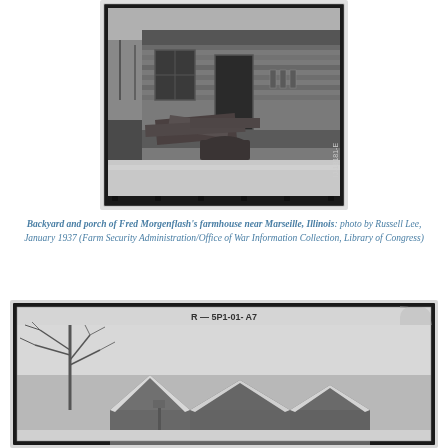[Figure (photo): Black and white photograph showing the backyard and porch of a dilapidated farmhouse. The porch is cluttered with wood debris, farm equipment, and various items. A snowy ground is visible in front. A handwritten label is visible on the right border of the negative.]
Backyard and porch of Fred Morgenflash's farmhouse near Marseille, Illinois: photo by Russell Lee, January 1937 (Farm Security Administration/Office of War Information Collection, Library of Congress)
[Figure (photo): Black and white photograph (partially visible) showing a winter scene with bare trees and snow-covered rooftops of a house. A film strip label reading 'R-5P1-01-A7' is visible at the top of the negative frame.]